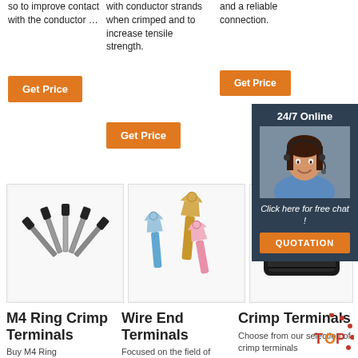so to improve contact with the conductor …
with conductor strands when crimped and to increase tensile strength.
and a reliable connection.
Get Price
Get Price
Get Price
[Figure (infographic): Dark navy chat panel with '24/7 Online' header, agent photo with headset, 'Click here for free chat!' text, and orange QUOTATION button]
[Figure (photo): Wire end ferrule crimp terminals arranged in a fan pattern]
[Figure (photo): Spade/fork crimp terminals in blue, gold and pink colors]
[Figure (photo): Black crimp tool or cable]
M4 Ring Crimp Terminals
Buy M4 Ring
Wire End Terminals
Focused on the field of electrical crimps, SCE has
Crimp Terminals
Choose from our selection of crimp terminals